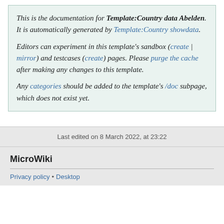This is the documentation for Template:Country data Abelden. It is automatically generated by Template:Country showdata. Editors can experiment in this template's sandbox (create | mirror) and testcases (create) pages. Please purge the cache after making any changes to this template. Any categories should be added to the template's /doc subpage, which does not exist yet.
Last edited on 8 March 2022, at 23:22
MicroWiki
Privacy policy • Desktop